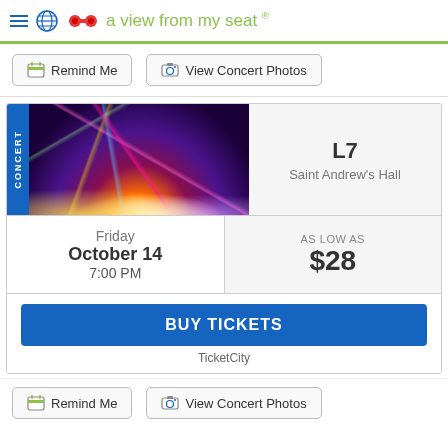a view from my seat ®
Remind Me   View Concert Photos
[Figure (photo): Concert stage with colorful laser beams and bright stage lighting in a dark venue, labeled CONCERT on the left side]
L7
Saint Andrew's Hall
Friday October 14 7:00 PM
AS LOW AS $28
BUY TICKETS
TicketCity
Remind Me   View Concert Photos